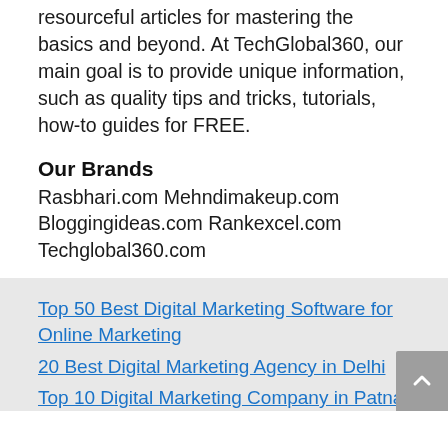resourceful articles for mastering the basics and beyond. At TechGlobal360, our main goal is to provide unique information, such as quality tips and tricks, tutorials, how-to guides for FREE.
Our Brands
Rasbhari.com Mehndimakeup.com Bloggingideas.com Rankexcel.com Techglobal360.com
Top 50 Best Digital Marketing Software for Online Marketing
20 Best Digital Marketing Agency in Delhi
Top 10 Digital Marketing Company in Patna